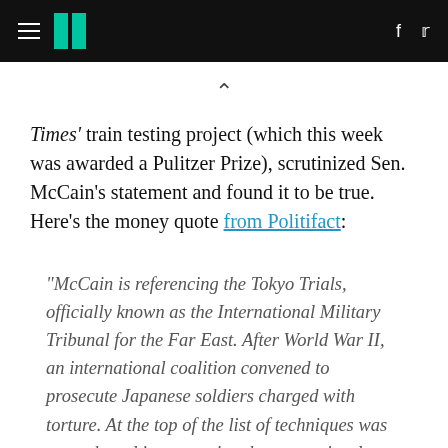HuffPost navigation header with hamburger menu, logo, Facebook and Twitter icons
Times' train testing project (which this week was awarded a Pulitzer Prize), scrutinized Sen. McCain's statement and found it to be true. Here's the money quote from Politifact:
"McCain is referencing the Tokyo Trials, officially known as the International Military Tribunal for the Far East. After World War II, an international coalition convened to prosecute Japanese soldiers charged with torture. At the top of the list of techniques was water-based interrogation, known variously then as 'water cure,' 'water torture'